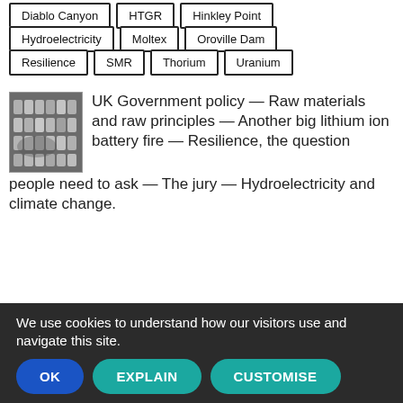Diablo Canyon
HTGR
Hinkley Point
Hydroelectricity
Moltex
Oroville Dam
Resilience
SMR
Thorium
Uranium
[Figure (photo): Photo of lithium ion battery cells arranged in rows]
UK Government policy — Raw materials and raw principles — Another big lithium ion battery fire — Resilience, the question people need to ask — The jury — Hydroelectricity and climate change.
We use cookies to understand how our visitors use and navigate this site.
OK
EXPLAIN
CUSTOMISE